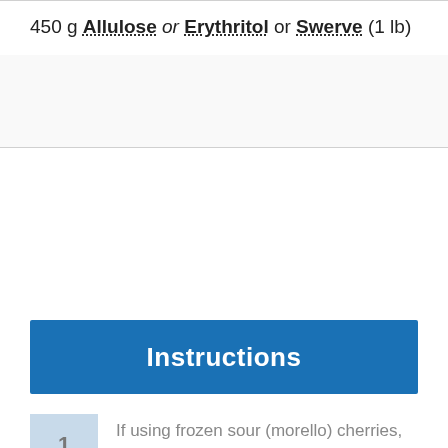450 g Allulose or Erythritol or Swerve (1 lb)
Instructions
If using frozen sour (morello) cherries, let them defrost. If you're using fresh sour cherries